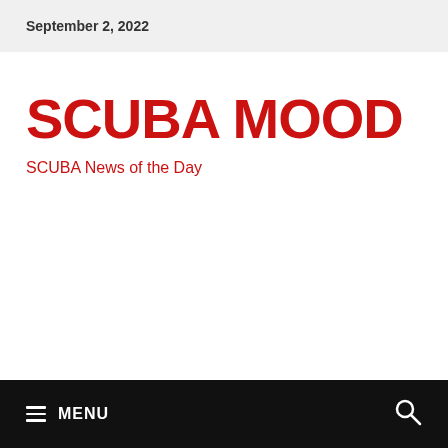September 2, 2022
SCUBA MOOD
SCUBA News of the Day
☰ MENU 🔍